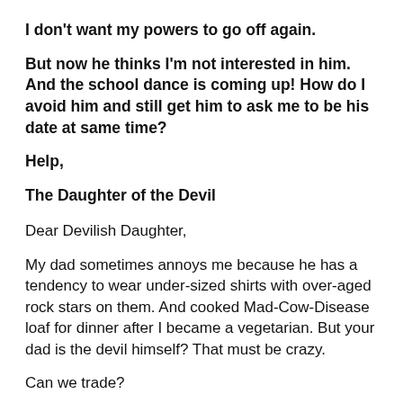I don't want my powers to go off again.
But now he thinks I'm not interested in him. And the school dance is coming up! How do I avoid him and still get him to ask me to be his date at same time?
Help,
The Daughter of the Devil
Dear Devilish Daughter,
My dad sometimes annoys me because he has a tendency to wear under-sized shirts with over-aged rock stars on them. And cooked Mad-Cow-Disease loaf for dinner after I became a vegetarian. But your dad is the devil himself? That must be crazy.
Can we trade?